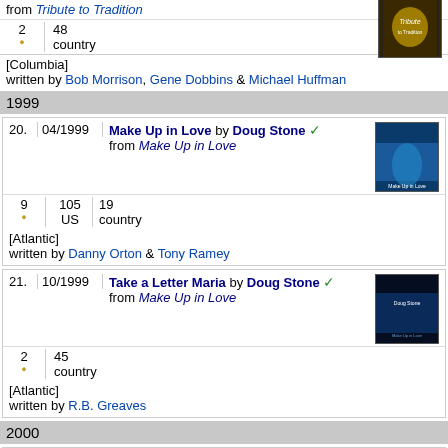from Tribute to Tradition
| 2 | 48 |
| • | country |
[Columbia]
written by Bob Morrison, Gene Dobbins & Michael Huffman
1999
| 20. | 04/1999 | Make Up in Love by Doug Stone ✓
from Make Up in Love |
| --- | --- | --- |
| 9 | 105 | 19 |
| • | US | country |
[Atlantic]
written by Danny Orton & Tony Ramey
| 21. | 10/1999 | Take a Letter Maria by Doug Stone ✓
from Make Up in Love |
| --- | --- | --- |
| 2 | 45 |
| • | country |
[Atlantic]
written by R.B. Greaves
2000
| 22. | 04/2000 | Surprise by Doug Stone ✓
from Make Up in Love |
| --- | --- | --- |